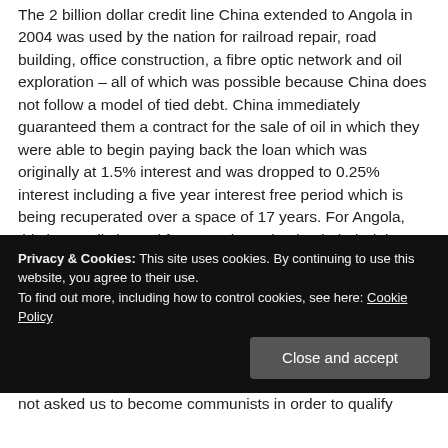The 2 billion dollar credit line China extended to Angola in 2004 was used by the nation for railroad repair, road building, office construction, a fibre optic network and oil exploration – all of which was possible because China does not follow a model of tied debt. China immediately guaranteed them a contract for the sale of oil in which they were able to begin paying back the loan which was originally at 1.5% interest and was dropped to 0.25% interest including a five year interest free period which is being recuperated over a space of 17 years. For Angola, this is a realistic goal for not only paying back their debt to China but also for upgrading their infrastructure enough to begin investing in other trade projects.
Privacy & Cookies: This site uses cookies. By continuing to use this website, you agree to their use. To find out more, including how to control cookies, see here: Cookie Policy
not asked us to become communists in order to qualify